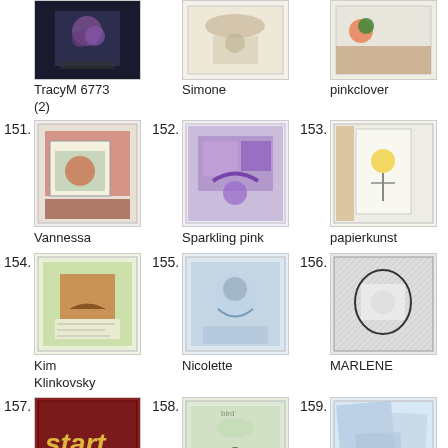[Figure (photo): Thumbnail image - TracyM 6773 card]
[Figure (photo): Thumbnail image - Simone card]
[Figure (photo): Thumbnail image - pinkclover card]
TracyM 6773 (2)
Simone
pinkclover
151.
[Figure (photo): Thumbnail image 151 - Vannessa card]
Vannessa
152.
[Figure (photo): Thumbnail image 152 - Sparkling pink card]
Sparkling pink
153.
[Figure (photo): Thumbnail image 153 - papierkunst card]
papierkunst
154.
[Figure (photo): Thumbnail image 154 - Kim Klinkovsky card]
Kim Klinkovsky
155.
[Figure (photo): Thumbnail image 155 - Nicolette card]
Nicolette
156.
[Figure (photo): Thumbnail image 156 - MARLENE card]
MARLENE
157.
[Figure (photo): Thumbnail image 157 - Anna card]
Anna
158.
[Figure (photo): Thumbnail image 158 - Valeryanne card]
Valeryanne
159.
[Figure (photo): Thumbnail image 159 - DoScrappers card]
DoScrappers